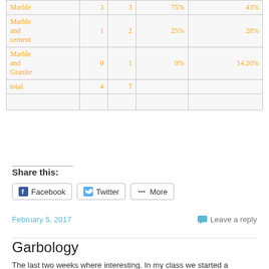| Marble | 3 | 3 | 75% | 43% |
| Marble and cement | 1 | 2 | 25% | 28% |
| Marble and Granite | 0 | 1 | 0% | 14.20% |
| total | 4 | 7 |  |  |
|  |  |  |  |  |
Share this:
Facebook   Twitter   More
February 5, 2017
Leave a reply
Garbology
The last two weeks where interesting. In my class we started a